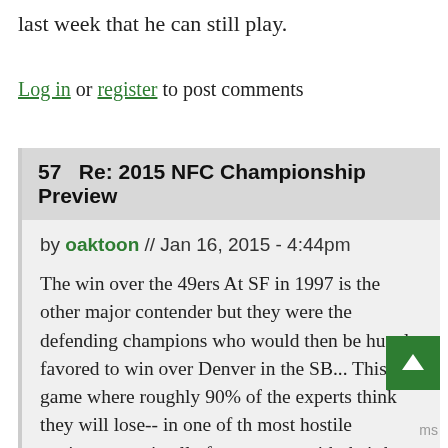last week that he can still play.
Log in or register to post comments
57  Re: 2015 NFC Championship Preview
by oaktoon // Jan 16, 2015 - 4:44pm
The win over the 49ers At SF in 1997 is the other major contender but they were the defending champions who would then be hugely favored to win over Denver in the SB... This is a game where roughly 90% of the experts think they will lose-- in one of the most hostile environments in all of pro sports, with their best player nursing a leg injury. So I'd say it would be the Packers' greatest upset-- none of the Lombardi-era